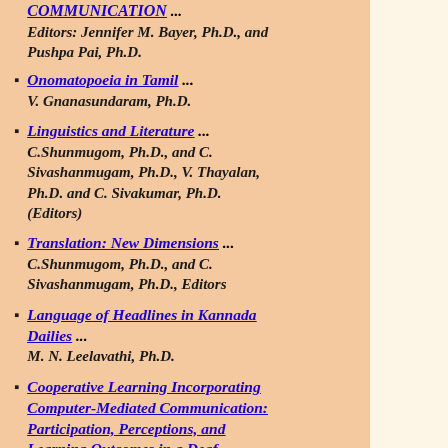COMMUNICATION ... Editors: Jennifer M. Bayer, Ph.D., and Pushpa Pai, Ph.D.
Onomatopoeia in Tamil ... V. Gnanasundaram, Ph.D.
Linguistics and Literature ... C.Shunmugom, Ph.D., and C. Sivashanmugam, Ph.D., V. Thayalan, Ph.D. and C. Sivakumar, Ph.D. (Editors)
Translation: New Dimensions ... C.Shunmugom, Ph.D., and C. Sivashanmugam, Ph.D., Editors
Language of Headlines in Kannada Dailies ... M. N. Leelavathi, Ph.D.
Cooperative Learning Incorporating Computer-Mediated Communication: Participation, Perceptions, and Learning Outcomes in a Deaf Education Classroom...